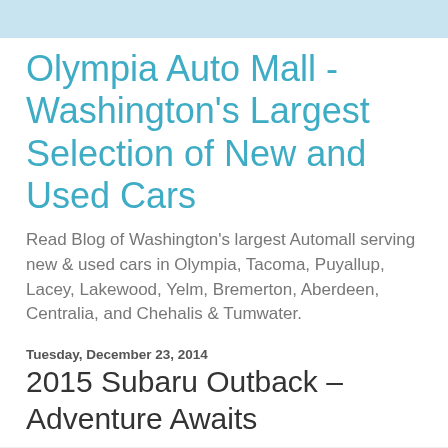Olympia Auto Mall - Washington's Largest Selection of New and Used Cars
Read Blog of Washington's largest Automall serving new & used cars in Olympia, Tacoma, Puyallup, Lacey, Lakewood, Yelm, Bremerton, Aberdeen, Centralia, and Chehalis & Tumwater.
Tuesday, December 23, 2014
2015 Subaru Outback – Adventure Awaits
[Figure (other): Partially visible image placeholder at bottom of page]